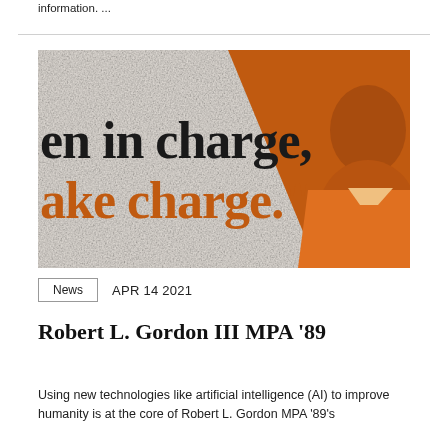information. ...
[Figure (photo): Promotional image with large text quote reading 'en in charge, ake charge.' in black and orange serif font on a textured paper background, with an orange-tinted portrait of a man on the right side.]
News   APR 14 2021
Robert L. Gordon III MPA '89
Using new technologies like artificial intelligence (AI) to improve humanity is at the core of Robert L. Gordon MPA '89's